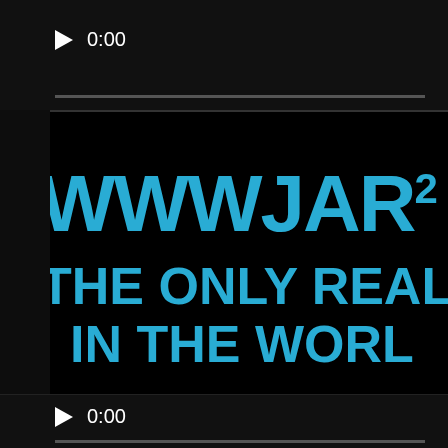[Figure (screenshot): Top media player control bar showing a play button and 0:00 timestamp with a progress bar]
[Figure (screenshot): Main black video thumbnail area showing blue text 'WWWJAR2' on first line and 'THE ONLY REAL L&' on second line and 'IN THE WORL' on third line — a promotional or brand graphic with cyan/blue futuristic font on black background]
[Figure (screenshot): Bottom media player control bar showing a play button and 0:00 timestamp with a progress bar]